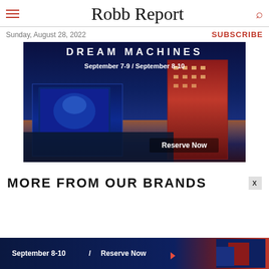Robb Report
Sunday, August 28, 2022
SUBSCRIBE
[Figure (illustration): Advertisement banner for Dream Machines event at a Las Vegas hotel/casino showing illuminated buildings at night. Text reads: DREAM MACHINES, September 7-9 / September 8-10, Reserve Now]
MORE FROM OUR BRANDS
[Figure (illustration): Bottom advertisement banner showing: September 8-10 / Reserve Now with arrow, with hotel building image on right]